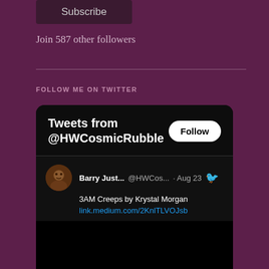Subscribe
Join 587 other followers
FOLLOW ME ON TWITTER
[Figure (screenshot): Twitter widget showing 'Tweets from @HWCosmicRubble' with a Follow button, and a tweet by Barry Just... @HWCos... on Aug 23 saying '3AM Creeps by Krystal Morgan link.medium.com/2KnlTLVOJsb' with a black image preview area below.]